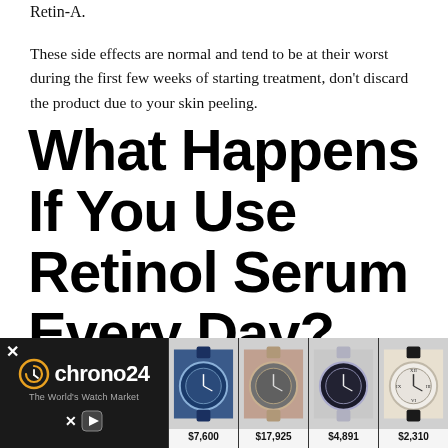Retin-A.
These side effects are normal and tend to be at their worst during the first few weeks of starting treatment, don't discard the product due to your skin peeling.
What Happens If You Use Retinol Serum Every Day?
Though, for first-time users, it is recommended that
[Figure (screenshot): Chrono24 advertisement banner showing luxury watches for sale. Displays the Chrono24 logo ('The World's Watch Market') on a dark background on the left, with four watch images and prices: $7,600, $17,925, $4,891, $2,310.]